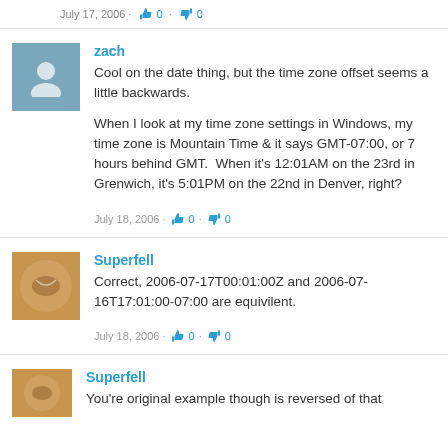July 17, 2006 · 👍 0 · 👎 0
zach
Cool on the date thing, but the time zone offset seems a little backwards.

When I look at my time zone settings in Windows, my time zone is Mountain Time & it says GMT-07:00, or 7 hours behind GMT.  When it's 12:01AM on the 23rd in Grenwich, it's 5:01PM on the 22nd in Denver, right?

July 18, 2006 · 👍 0 · 👎 0
Superfell
Correct, 2006-07-17T00:01:00Z and 2006-07-16T17:01:00-07:00 are equivilent.

July 18, 2006 · 👍 0 · 👎 0
Superfell
You're original example though is reversed of that